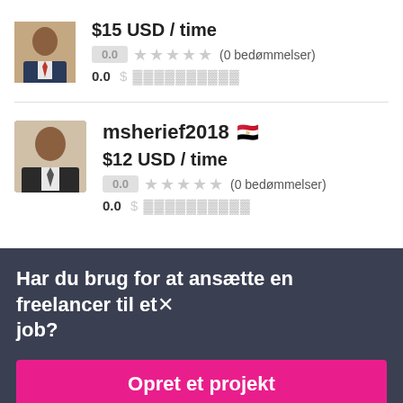[Figure (photo): Small profile photo of a person in a suit, cropped head and shoulders]
$15 USD / time
0.0 ★★★★★ (0 bedømmelser)
0.0 $▓▓▓▓▓▓▓▓▓▓
[Figure (photo): Profile photo of msherief2018, man in suit smiling]
msherief2018 🇪🇬
$12 USD / time
0.0 ★★★★★ (0 bedømmelser)
0.0 $▓▓▓▓▓▓▓▓▓▓
Har du brug for at ansætte en freelancer til et job?
Opret et projekt